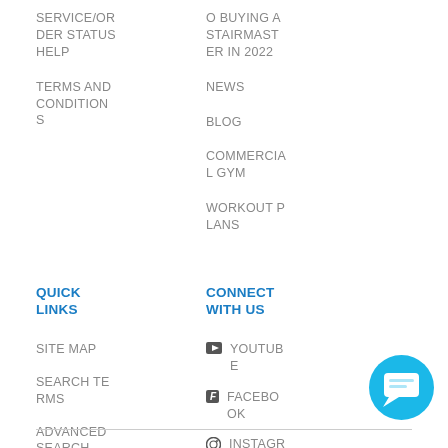SERVICE/ORDER STATUS HELP
O BUYING A STAIRMASTER IN 2022
TERMS AND CONDITIONS
NEWS
BLOG
COMMERCIAL GYM
WORKOUT PLANS
QUICK LINKS
CONNECT WITH US
SITE MAP
YOUTUBE
SEARCH TERMS
FACEBOOK
ADVANCED SEARCH
INSTAGRAM